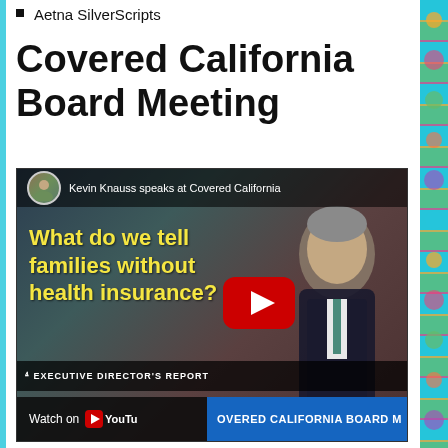Aetna SilverScripts
Covered California Board Meeting
[Figure (screenshot): YouTube video thumbnail showing Kevin Knauss speaking at Covered California board meeting. Yellow text overlay reads 'What do we tell families without health insurance?' with a red YouTube play button. Bottom bar shows 'Watch on YouTube' and 'COVERED CALIFORNIA BOARD M...' text. Top bar shows avatar and channel name 'Kevin Knauss speaks at Covered California'.]